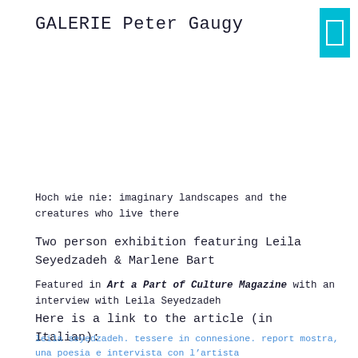GALERIE Peter Gaugy
[Figure (other): Cyan/teal colored rectangle button with a white rectangle outline icon inside, positioned top right corner]
Hoch wie nie: imaginary landscapes and the creatures who live there
Two person exhibition featuring Leila Seyedzadeh & Marlene Bart
Featured in Art a Part of Culture Magazine with an interview with Leila Seyedzadeh
Here is a link to the article (in Italian):
leila seyedzadeh. tessere in connesione. report mostra, una poesia e intervista con l’artista